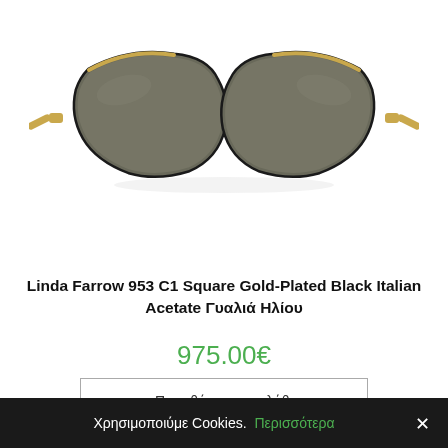[Figure (photo): Product photo of Linda Farrow 953 C1 Square sunglasses with gold metal frame and dark olive/grey lenses on a white background]
Linda Farrow 953 C1 Square Gold-Plated Black Italian Acetate Γυαλιά Ηλίου
975.00€
Προσθήκη στο καλάθι
Χρησιμοποιύμε Cookies. Περισσότερα ×